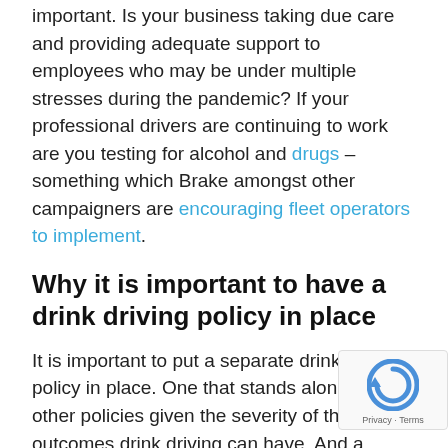important. Is your business taking due care and providing adequate support to employees who may be under multiple stresses during the pandemic? If your professional drivers are continuing to work are you testing for alcohol and drugs – something which Brake amongst other campaigners are encouraging fleet operators to implement.
Why it is important to have a drink driving policy in place
It is important to put a separate drink driving policy in place. One that stands alone from other policies given the severity of the outcomes drink driving can have. And a policy that reflects the current situation that we find ourselves in with the COVID-19 pandemic and related impact on individuals.
When creating your drink driving policy it is important to